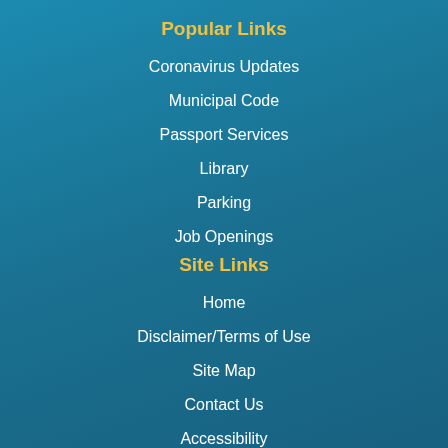Popular Links
Coronavirus Updates
Municipal Code
Passport Services
Library
Parking
Job Openings
Site Links
Home
Disclaimer/Terms of Use
Site Map
Contact Us
Accessibility
Government Websites by CivicPlus®